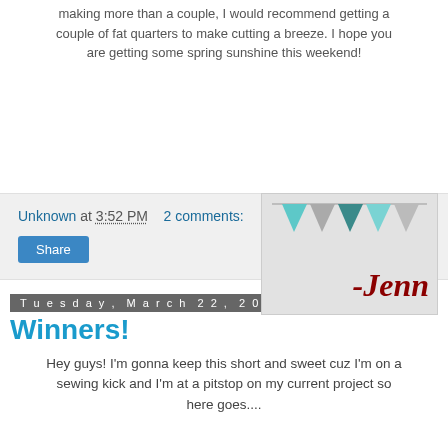making more than a couple, I would recommend getting a couple of fat quarters to make cutting a breeze.  I hope you are getting some spring sunshine this weekend!
[Figure (illustration): Blog signature image with decorative bunting flags in teal, gray, and dark teal colors, and the name '-Jenn' in dark red serif italic font on a light gray background.]
Unknown at 3:52 PM   2 comments:
Share
Tuesday, March 22, 2011
Winners!
Hey guys!  I'm gonna keep this short and sweet cuz I'm on a sewing kick and I'm at a pitstop on my current project so here goes....